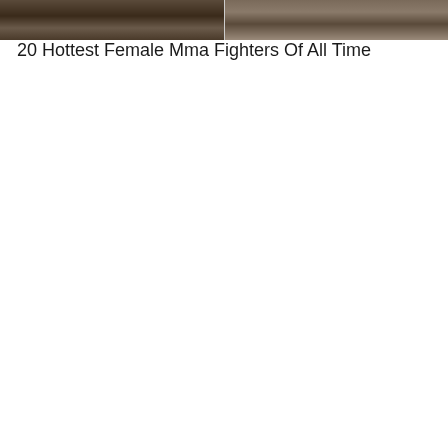[Figure (photo): Two side-by-side photos of female MMA fighters cropped at the top of the page]
20 Hottest Female Mma Fighters Of All Time